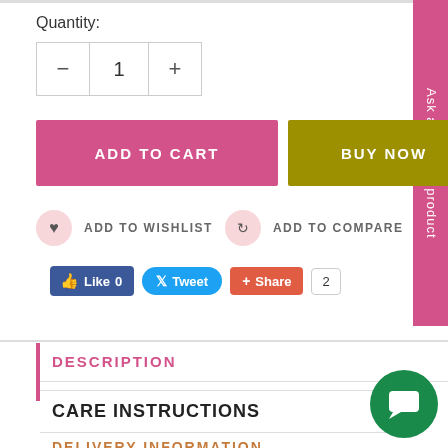Quantity:
— 1 +
ADD TO CART
BUY NOW
ADD TO WISHLIST   ADD TO COMPARE
Like 0   Tweet   Share   2
DESCRIPTION
CARE INSTRUCTIONS
DELIVERY INFORMATION
Ask about this product